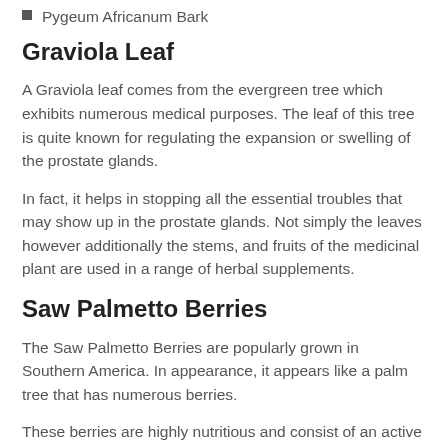Pygeum Africanum Bark
Graviola Leaf
A Graviola leaf comes from the evergreen tree which exhibits numerous medical purposes. The leaf of this tree is quite known for regulating the expansion or swelling of the prostate glands.
In fact, it helps in stopping all the essential troubles that may show up in the prostate glands. Not simply the leaves however additionally the stems, and fruits of the medicinal plant are used in a range of herbal supplements.
Saw Palmetto Berries
The Saw Palmetto Berries are popularly grown in Southern America. In appearance, it appears like a palm tree that has numerous berries.
These berries are highly nutritious and consist of an active compound which is highly effective in regulating the effects of BPH